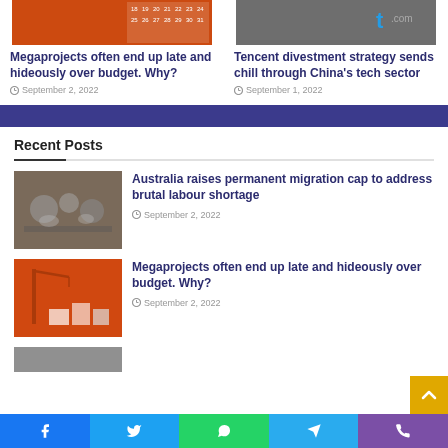[Figure (photo): Orange/red background with calendar grid showing numbers 18-31]
Megaprojects often end up late and hideously over budget. Why?
September 2, 2022
[Figure (photo): Dark background with tech/phone related imagery and tencent logo]
Tencent divestment strategy sends chill through China’s tech sector
September 1, 2022
Recent Posts
[Figure (photo): Industrial/factory scene with metallic equipment parts]
Australia raises permanent migration cap to address brutal labour shortage
September 2, 2022
[Figure (photo): Orange background with crane and construction boxes/crates]
Megaprojects often end up late and hideously over budget. Why?
September 2, 2022